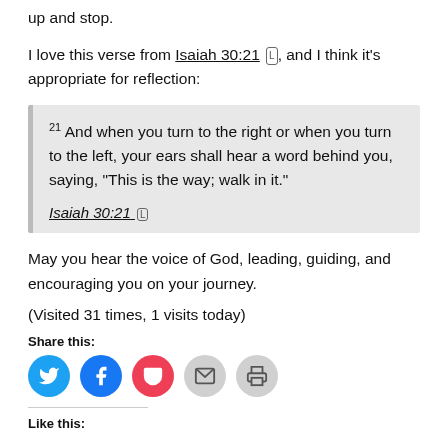up and stop.
I love this verse from Isaiah 30:21 [L], and I think it's appropriate for reflection:
21 And when you turn to the right or when you turn to the left, your ears shall hear a word behind you, saying, "This is the way; walk in it."

Isaiah 30:21 [L]
May you hear the voice of God, leading, guiding, and encouraging you on your journey.
(Visited 31 times, 1 visits today)
Share this:
[Figure (infographic): Social share buttons: Twitter, Facebook, Pocket, Email, Print]
Like this: